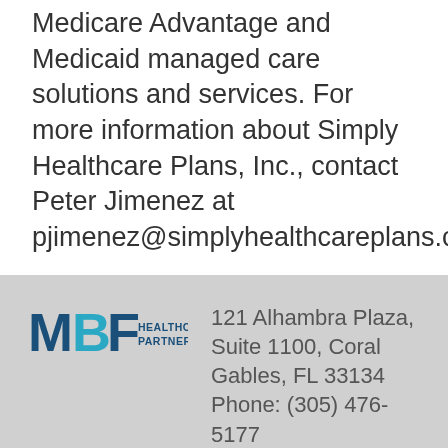Medicare Advantage and Medicaid managed care solutions and services. For more information about Simply Healthcare Plans, Inc., contact Peter Jimenez at pjimenez@simplyhealthcareplans.com
[Figure (logo): MBF Healthcare Partners logo with stylized M, B, F letters in dark blue and teal]
121 Alhambra Plaza, Suite 1100, Coral Gables, FL 33134
Phone: (305) 476-5177
Are you a